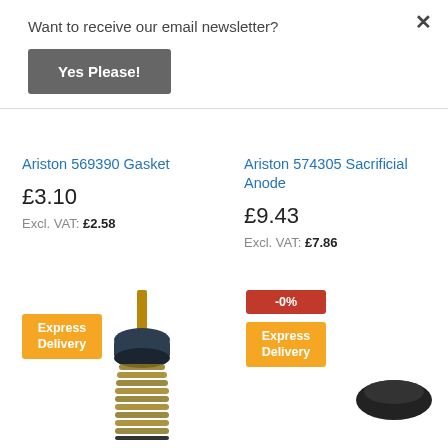Want to receive our email newsletter?
Yes Please!
×
Ariston 569390 Gasket
£3.10
Excl. VAT: £2.58
Ariston 574305 Sacrificial Anode
£9.43
Excl. VAT: £7.86
[Figure (photo): Ariston 569390 Gasket product image — a valve cartridge with spring coil and brass rod, with orange Express Delivery badge]
[Figure (photo): Ariston 574305 Sacrificial Anode product image — a small black disc/cap, with red -0% badge and orange Express Delivery badge]